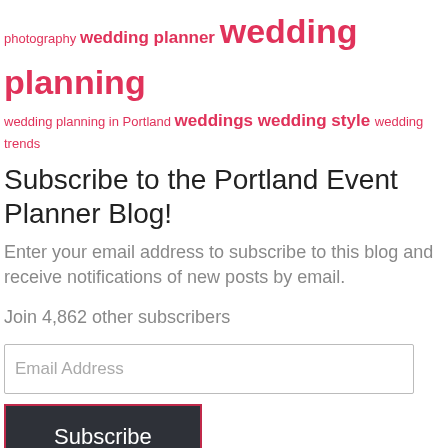photography wedding planner wedding planning wedding planning in Portland weddings wedding style wedding trends
Subscribe to the Portland Event Planner Blog!
Enter your email address to subscribe to this blog and receive notifications of new posts by email.
Join 4,862 other subscribers
Email Address
Subscribe